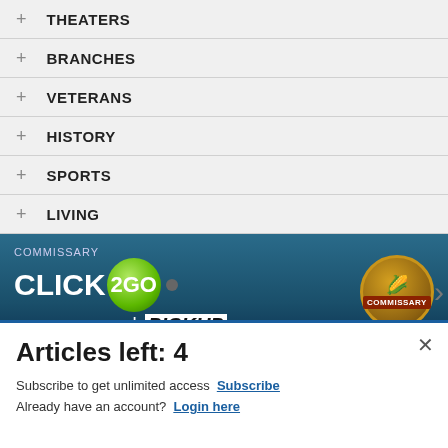+ THEATERS
+ BRANCHES
+ VETERANS
+ HISTORY
+ SPORTS
+ LIVING
[Figure (screenshot): Commissary Click2Go advertisement banner with green circular logo and Commissary badge logo, showing 'order groceries' and 'PICKUP' text on dark blue/teal background]
Articles left: 4
Subscribe to get unlimited access Subscribe
Already have an account? Login here